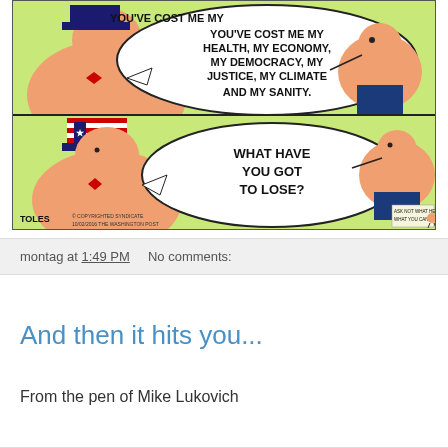[Figure (illustration): A two-panel political comic strip by Tom Toles (Washington Post). Top panel: A large-bodied character wearing a suit speaks a word balloon reading 'YOU'VE COST ME MY HEALTH, MY ECONOMY, MY DEMOCRACY, MY JUSTICE, MY CLIMATE AND MY SANITY.' A second figure listens on the right. Bottom panel: Uncle Sam figure with star-spangled hat responds with a word balloon reading 'WHAT HAVE YOU GOT TO LOSE?' Small caption at bottom reads: 'ASK NOT WHAT HE HAS TO LOSE. ASK WHAT YOU CAN LOSE FOR YOUR COUNTRY.' Signed 'TOLES' with copyright '10/02/2016 THE WASHINGTON POST'.]
montag at 1:49 PM    No comments:
And then it hits you...
From the pen of Mike Lukovich